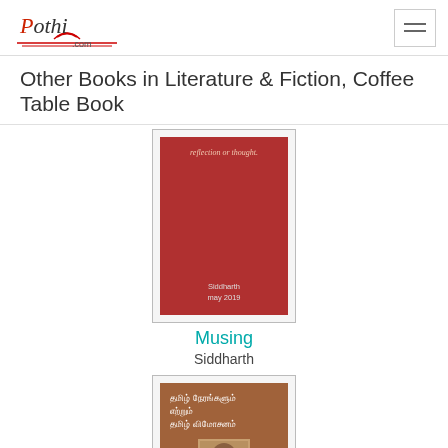Pothi.com
Other Books in Literature & Fiction, Coffee Table Book
[Figure (illustration): Book cover of 'Musing' - red background with text 'reflection or thought.' at top and 'Siddharth may 2019' at bottom]
Musing
Siddharth
[Figure (illustration): Book cover in brown with Tamil script title and author photo of R Saraswathan]
R Saraswathan